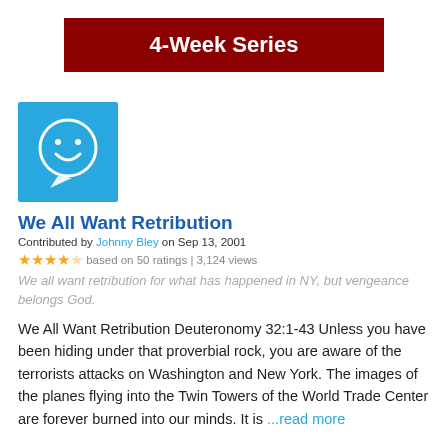4-Week Series
[Figure (illustration): Blue square icon with a white smiley face speech bubble]
We All Want Retribution
Contributed by Johnny Bley on Sep 13, 2001
★★★★☆ based on 50 ratings | 3,124 views
We all want retribution for what has happened in NY, but vengeance belongs God.
We All Want Retribution Deuteronomy 32:1-43 Unless you have been hiding under that proverbial rock, you are aware of the terrorists attacks on Washington and New York. The images of the planes flying into the Twin Towers of the World Trade Center are forever burned into our minds. It is ...read more